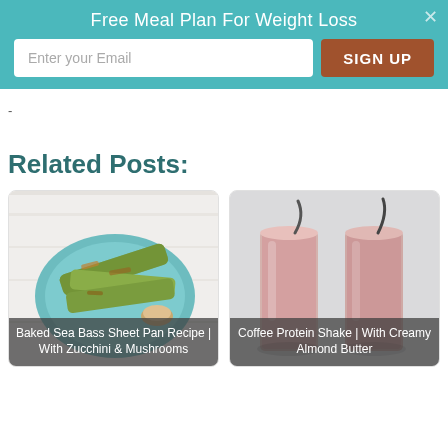Free Meal Plan For Weight Loss
-
Related Posts:
[Figure (photo): Baked zucchini wedges on a teal plate on a white wooden surface — food photo for Baked Sea Bass Sheet Pan Recipe]
Baked Sea Bass Sheet Pan Recipe | With Zucchini & Mushrooms
[Figure (photo): Two tall glasses of pink/rose-colored protein shake with metal straws on a light grey background — food photo for Coffee Protein Shake]
Coffee Protein Shake | With Creamy Almond Butter